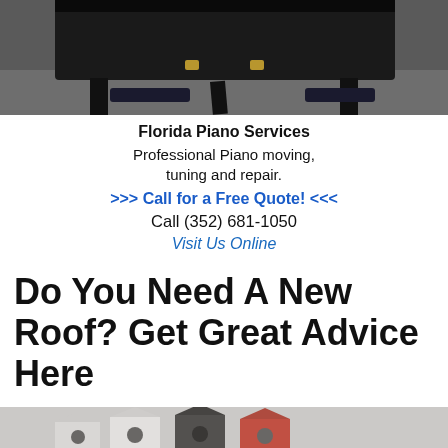[Figure (photo): Black grand piano legs and body, dark background, partial top-down view]
Florida Piano Services
Professional Piano moving, tuning and repair.
>>> Call for a Free Quote! <<<
Call (352) 681-1050
Visit Us Online
Do You Need A New Roof? Get Great Advice Here
[Figure (photo): Colorful birdhouses in a row, viewed from above, partial bottom of page]